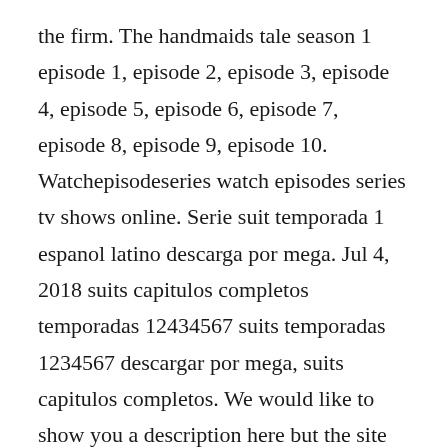the firm. The handmaids tale season 1 episode 1, episode 2, episode 3, episode 4, episode 5, episode 6, episode 7, episode 8, episode 9, episode 10. Watchepisodeseries watch episodes series tv shows online. Serie suit temporada 1 espanol latino descarga por mega. Jul 4, 2018 suits capitulos completos temporadas 12434567 suits temporadas 1234567 descargar por mega, suits capitulos completos. We would like to show you a description here but the site wont allow us. Ver suits 9x03 hd online sub espanol, latino y